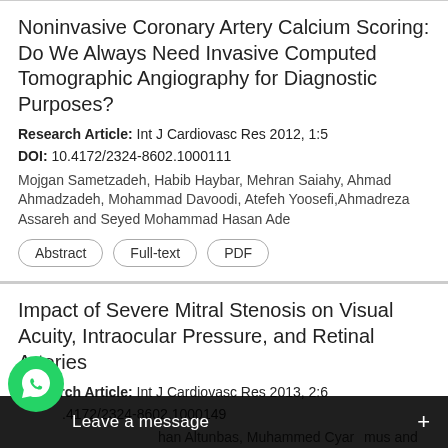Noninvasive Coronary Artery Calcium Scoring: Do We Always Need Invasive Computed Tomographic Angiography for Diagnostic Purposes?
Research Article: Int J Cardiovasc Res 2012, 1:5
DOI: 10.4172/2324-8602.1000111
Mojgan Sametzadeh, Habib Haybar, Mehran Saiahy, Ahmad Ahmadzadeh, Mohammad Davoodi, Atefeh Yoosefi,Ahmadreza Assareh and Seyed Mohammad Hasan Ade
Impact of Severe Mitral Stenosis on Visual Acuity, Intraocular Pressure, and Retinal Arteries
Research Article: Int J Cardiovasc Res 2013, 2:6
DOI: 10.4172/2324-8602.1000149
...han Altunbas, Muhammed Cyar...mus and Vedat Davutoglu